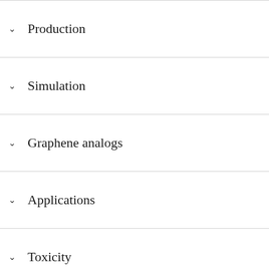Production
Simulation
Graphene analogs
Applications
Toxicity
See also